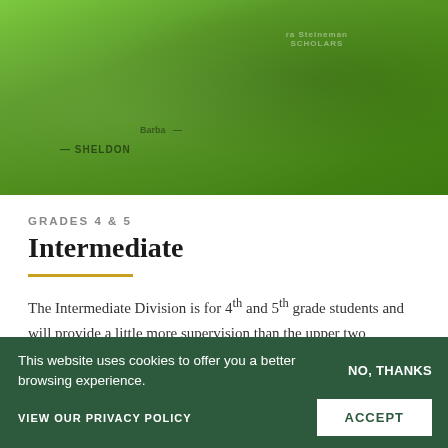[Figure (photo): Two children wearing bright green Sheldon and Barbara Steineman Scholars t-shirts]
GRADES 4 & 5
Intermediate
The Intermediate Division is for 4th and 5th grade students and will provide a little more supervision than the upper two divisions. They will have classes that have been pre-selected for their age and abilities.
This website uses cookies to offer you a better browsing experience.
NO, THANKS
VIEW OUR PRIVACY POLICY
ACCEPT